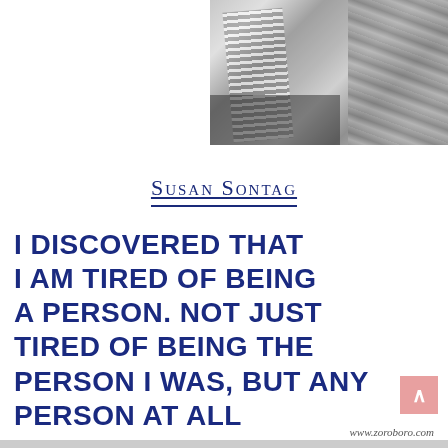[Figure (photo): Black and white photograph of a person with braided hair, partially visible, wearing a striped shirt, cropped at the top of the page on the right side]
Susan Sontag
I discovered that I am tired of being a person. Not just tired of being the person I was, but any person at all
www.zoroboro.com